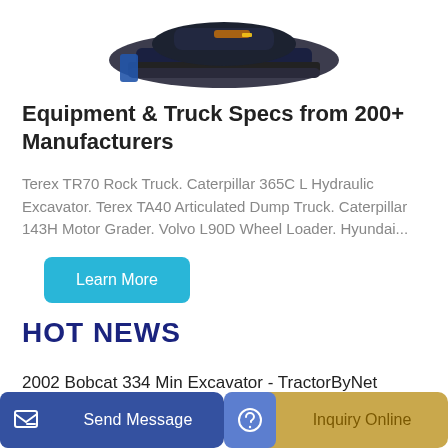[Figure (photo): Partial view of a tracked excavator/construction machine from above, showing the blade/bucket and tracks on a white background.]
Equipment & Truck Specs from 200+ Manufacturers
Terex TR70 Rock Truck. Caterpillar 365C L Hydraulic Excavator. Terex TA40 Articulated Dump Truck. Caterpillar 143H Motor Grader. Volvo L90D Wheel Loader. Hyundai...
Learn More
HOT NEWS
2002 Bobcat 334 Min Excavator - TractorByNet
Send Message
Inquiry Online